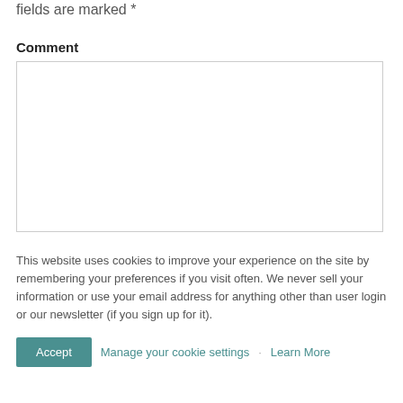fields are marked *
Comment
[Figure (other): Empty comment text area input box with light gray border]
This website uses cookies to improve your experience on the site by remembering your preferences if you visit often. We never sell your information or use your email address for anything other than user login or our newsletter (if you sign up for it).
Accept   Manage your cookie settings   ·   Learn More